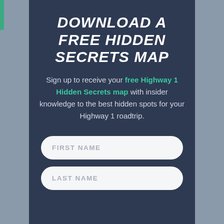DOWNLOAD A FREE HIDDEN SECRETS MAP
Sign up to receive your free Highway 1 Hidden Secrets map with insider knowledge to the best hidden spots for your Highway 1 roadtrip.
FIRST NAME
LAST NAME